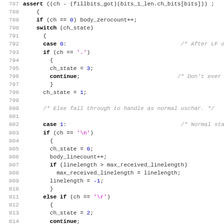[Figure (screenshot): Source code listing in C, lines 787-819, showing a switch statement for character state processing with cases 0, 1, and 2. Syntax highlighting: keywords in bold black, numeric literals in blue, string literals in magenta, comments in italic gray.]